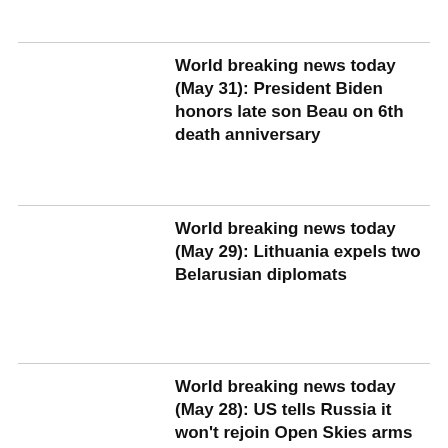World breaking news today (May 31): President Biden honors late son Beau on 6th death anniversary
World breaking news today (May 29): Lithuania expels two Belarusian diplomats
World breaking news today (May 28): US tells Russia it won't rejoin Open Skies arms